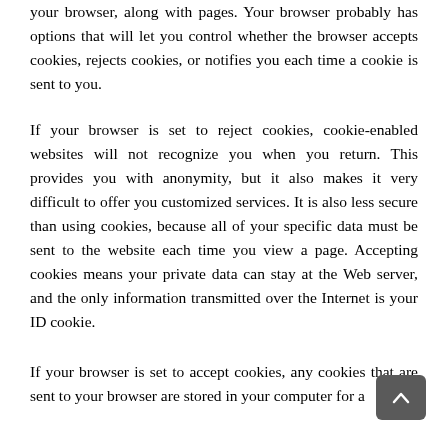your browser, along with pages. Your browser probably has options that will let you control whether the browser accepts cookies, rejects cookies, or notifies you each time a cookie is sent to you.
If your browser is set to reject cookies, cookie-enabled websites will not recognize you when you return. This provides you with anonymity, but it also makes it very difficult to offer you customized services. It is also less secure than using cookies, because all of your specific data must be sent to the website each time you view a page. Accepting cookies means your private data can stay at the Web server, and the only information transmitted over the Internet is your ID cookie.
If your browser is set to accept cookies, any cookies that are sent to your browser are stored in your computer for a